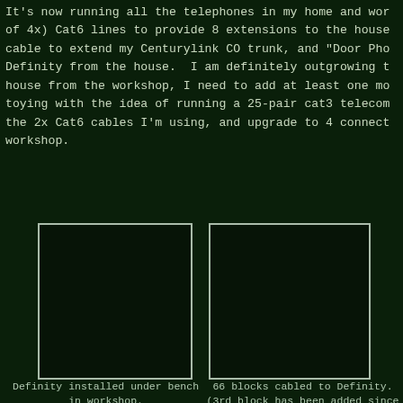It's now running all the telephones in my home and wor of 4x) Cat6 lines to provide 8 extensions to the house cable to extend my Centurylink CO trunk, and "Door Pho Definity from the house.  I am definitely outgrowing t house from the workshop, I need to add at least one mo toying with the idea of running a 25-pair cat3 telecom the 2x Cat6 cables I'm using, and upgrade to 4 connect workshop.
[Figure (photo): Definity installed under bench in workshop.]
[Figure (photo): 66 blocks cabled to Definity. (3rd block has been added since photo)]
Definity installed under bench in workshop.
66 blocks cabled to Definity. (3rd block has been added since photo)